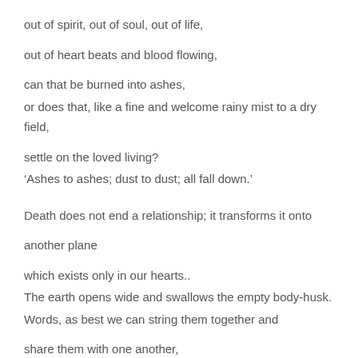out of spirit, out of soul, out of life,
out of heart beats and blood flowing,
can that be burned into ashes,
or does that, like a fine and welcome rainy mist to a dry field,
settle on the loved living?
‘Ashes to ashes; dust to dust; all fall down.’
Death does not end a relationship; it transforms it onto another plane
which exists only in our hearts..
The earth opens wide and swallows the empty body-husk.
Words, as best we can string them together and share them with one another,
are uttered and poems and Bible verses read…
A song is sung, and tears water the buried ashes,